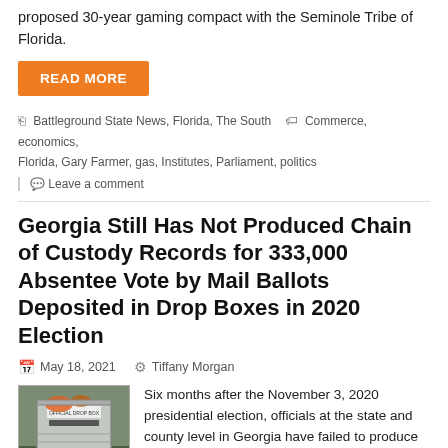proposed 30-year gaming compact with the Seminole Tribe of Florida.
READ MORE
Battleground State News, Florida, The South   Commerce, economics, Florida, Gary Farmer, gas, Institutes, Parliament, politics
Leave a comment
Georgia Still Has Not Produced Chain of Custody Records for 333,000 Absentee Vote by Mail Ballots Deposited in Drop Boxes in 2020 Election
May 18, 2021   Tiffany Morgan
[Figure (photo): Photo of a drop box for mail ballots, yellow posts, attached to a wall with bags on top]
Six months after the November 3, 2020 presidential election, officials at the state and county level in Georgia have failed to produce chain of custody records for more than 333,000 absentee vote by mail ballots deposited in drop boxes located around the state